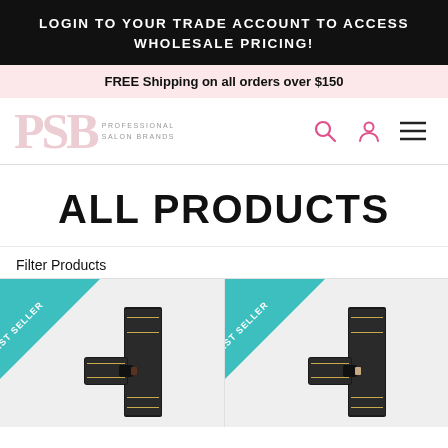LOGIN TO YOUR TRADE ACCOUNT TO ACCESS WHOLESALE PRICING!
FREE Shipping on all orders over $150
[Figure (logo): PSB Professional Salon Brands logo with large pink PSB letters and small text PROFESSIONAL SALON BRANDS]
ALL PRODUCTS
Filter Products
[Figure (photo): Product card with teal BEST SELLER ribbon banner in top-left corner, showing dark makeup/cosmetic product tubes and box]
[Figure (photo): Product card with teal BEST SELLER ribbon banner in top-left corner, showing lighter shade makeup/cosmetic product tubes and box]